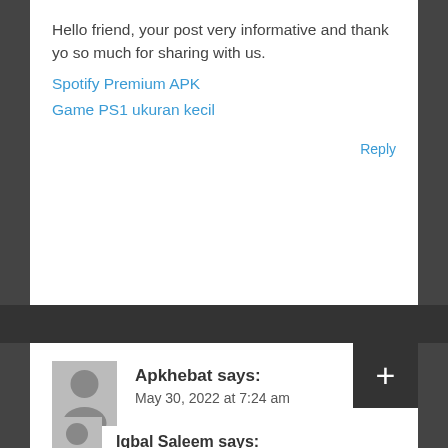Hello friend, your post very informative and thank yo so much for sharing with us. Spotify Premium APK Game PS1 ukuran kecil
Reply
Apkhebat says: May 30, 2022 at 7:24 am
Hallo, the Vidmate APK for Android phones or tablets as a tool to download video Youtube the best for you.
Reply
Iqbal Saleem says: